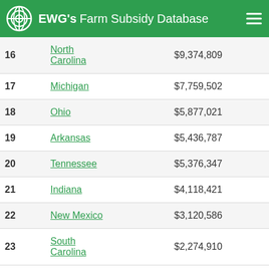EWG's Farm Subsidy Database
| # | State | Amount | % |
| --- | --- | --- | --- |
| 16 | North Carolina | $9,374,809 | 1.3 |
| 17 | Michigan | $7,759,502 | 1.1 |
| 18 | Ohio | $5,877,021 | 0.8 |
| 19 | Arkansas | $5,436,787 | 0.8 |
| 20 | Tennessee | $5,376,347 | 0.8 |
| 21 | Indiana | $4,118,421 | 0.6 |
| 22 | New Mexico | $3,120,586 | 0.4 |
| 23 | South Carolina | $2,274,910 | 0.3 |